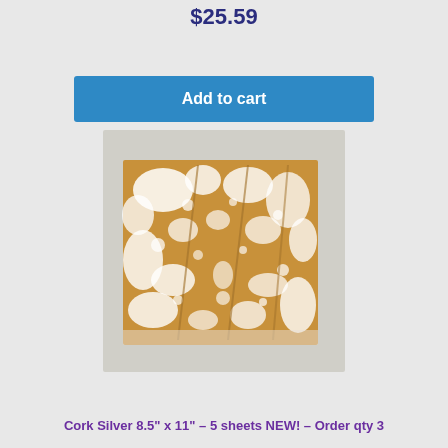$25.59
Add to cart
[Figure (photo): Cork sheet with silver/white splattered paint pattern, showing multiple stacked sheets, photographed on a light gray background.]
Quick View
Cork Silver 8.5" x 11" – 5 sheets NEW! – Order qty 3